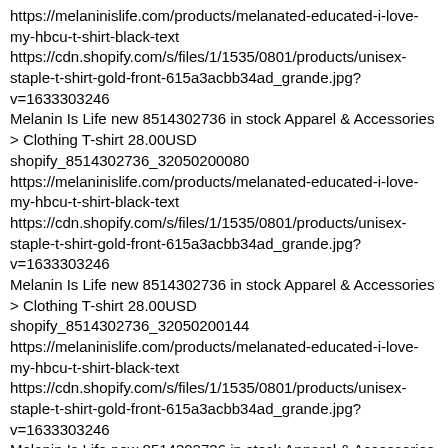https://melaninislife.com/products/melanated-educated-i-love-my-hbcu-t-shirt-black-text https://cdn.shopify.com/s/files/1/1535/0801/products/unisex-staple-t-shirt-gold-front-615a3acbb34ad_grande.jpg?v=1633303246 Melanin Is Life new 8514302736 in stock Apparel & Accessories > Clothing T-shirt 28.00USD shopify_8514302736_32050200080 https://melaninislife.com/products/melanated-educated-i-love-my-hbcu-t-shirt-black-text https://cdn.shopify.com/s/files/1/1535/0801/products/unisex-staple-t-shirt-gold-front-615a3acbb34ad_grande.jpg?v=1633303246 Melanin Is Life new 8514302736 in stock Apparel & Accessories > Clothing T-shirt 28.00USD shopify_8514302736_32050200144 https://melaninislife.com/products/melanated-educated-i-love-my-hbcu-t-shirt-black-text https://cdn.shopify.com/s/files/1/1535/0801/products/unisex-staple-t-shirt-gold-front-615a3acbb34ad_grande.jpg?v=1633303246 Melanin Is Life new 8514302736 in stock Apparel & Accessories > Clothing T-shirt 28.00USD shopify_8514302736_32050200208 https://melaninislife.com/products/melanated-educated-i-love-my-hbcu-t-shirt-black-text https://cdn.shopify.com/s/files/1/1535/0801/products/unisex-staple-t-shirt-gold-front-615a3acbb34ad_grande.jpg?v=1633303246 Melanin Is Life new 8514302736 in stock Apparel & Accessories > Clothing T-shirt 28.00USD shopify_8514302736_32050200272 https://melaninislife.com/products/melanated-educated-i-love-my-hbcu-t-shirt-black-text